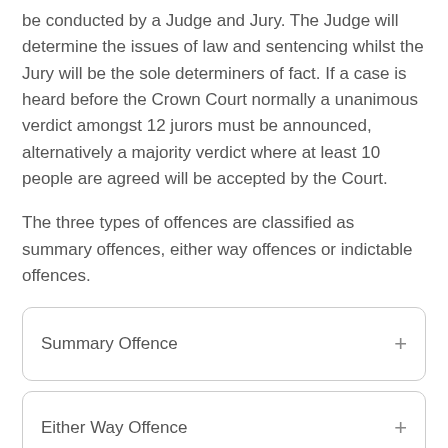be conducted by a Judge and Jury. The Judge will determine the issues of law and sentencing whilst the Jury will be the sole determiners of fact. If a case is heard before the Crown Court normally a unanimous verdict amongst 12 jurors must be announced, alternatively a majority verdict where at least 10 people are agreed will be accepted by the Court.
The three types of offences are classified as summary offences, either way offences or indictable offences.
Summary Offence
Either Way Offence